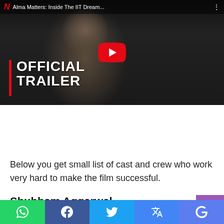[Figure (screenshot): YouTube video thumbnail for Netflix documentary 'Alma Matters: Inside The IIT Dream' showing official trailer with a young man sitting, large YouTube play button overlay, and 'OFFICIAL TRAILER' text with red bar on the left, Netflix logo and video title in top bar]
Cast and crew
Below you get small list of cast and crew who work very hard to make the film successful.
Shubham Aggarwal.
[Figure (screenshot): Bottom social sharing bar with WhatsApp (green), Facebook (dark blue), Twitter (light blue), Google Translate (blue), and Google (indigo) icons]